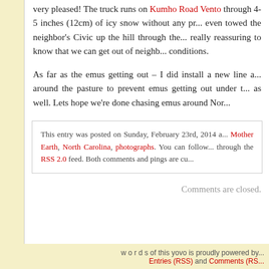very pleased! The truck runs on Kumho Road Ventu... through 4-5 inches (12cm) of icy snow without any pr... even towed the neighbor's Civic up the hill through the... really reassuring to know that we can get out of neighb... conditions.
As far as the emus getting out – I did install a new line a... around the pasture to prevent emus getting out under t... as well. Lets hope we're done chasing emus around Nor...
This entry was posted on Sunday, February 23rd, 2014 a... Mother Earth, North Carolina, photographs. You can follo... through the RSS 2.0 feed. Both comments and pings are cu...
Comments are closed.
w o r d s of this yovo is proudly powered by... Entries (RSS) and Comments (RS...